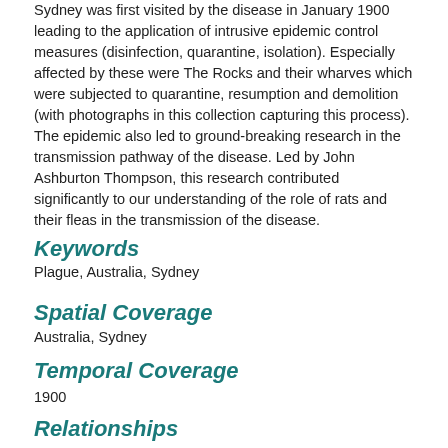Sydney was first visited by the disease in January 1900 leading to the application of intrusive epidemic control measures (disinfection, quarantine, isolation). Especially affected by these were The Rocks and their wharves which were subjected to quarantine, resumption and demolition (with photographs in this collection capturing this process). The epidemic also led to ground-breaking research in the transmission pathway of the disease. Led by John Ashburton Thompson, this research contributed significantly to our understanding of the role of rats and their fleas in the transmission of the disease.
Keywords
Plague, Australia, Sydney
Spatial Coverage
Australia, Sydney
Temporal Coverage
1900
Relationships
Host Item: Views taken during Cleansing Operations, Quarantine Area, Sydney, 1900, Vol. III / under the supervision of Mr George McCredie, F.I.A.,